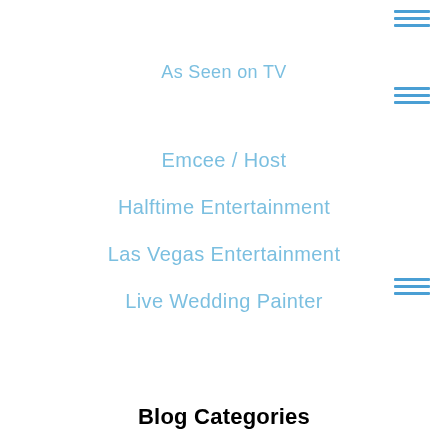As Seen on TV
Emcee / Host
Halftime Entertainment
Las Vegas Entertainment
Live Wedding Painter
Blog Categories